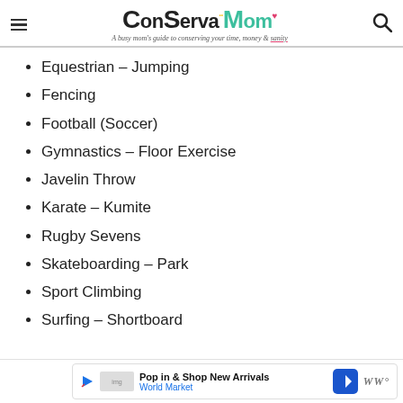ConservaMom – A busy mom's guide to conserving your time, money & sanity
Equestrian – Jumping
Fencing
Football (Soccer)
Gymnastics – Floor Exercise
Javelin Throw
Karate – Kumite
Rugby Sevens
Skateboarding – Park
Sport Climbing
Surfing – Shortboard
Pop in & Shop New Arrivals – World Market